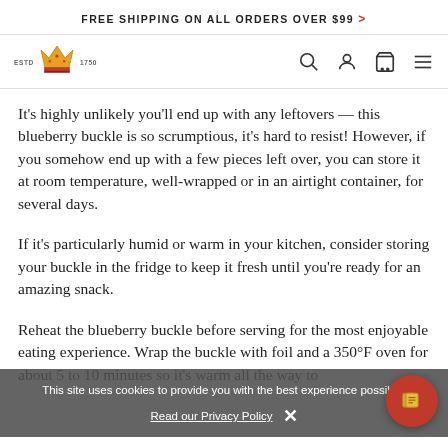FREE SHIPPING ON ALL ORDERS OVER $99 >
[Figure (logo): Brand logo with crown icon, 'ESTD' and '1750' text flanking a golden crown emblem]
It's highly unlikely you'll end up with any leftovers — this blueberry buckle is so scrumptious, it's hard to resist! However, if you somehow end up with a few pieces left over, you can store it at room temperature, well-wrapped or in an airtight container, for several days.
If it's particularly humid or warm in your kitchen, consider storing your buckle in the fridge to keep it fresh until you're ready for an amazing snack.
Reheat the blueberry buckle before serving for the most enjoyable eating experience. Wrap the buckle with foil and a 350°F oven for about 5 to 10 minutes so it's warm all the way through. Or if you prefer, you can microwave individual pieces as needed.
This site uses cookies to provide you with the best experience possible. Read our Privacy Policy